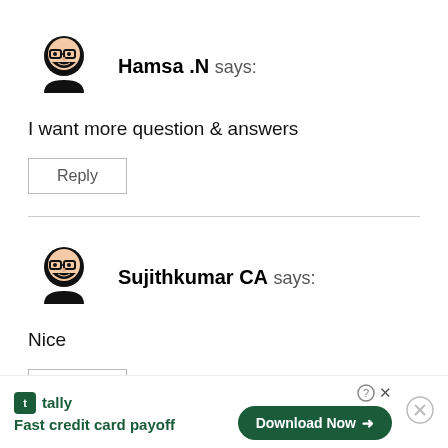[Figure (illustration): Avatar icon of a person with glasses and beard for user Hamsa .N]
Hamsa .N says:
I want more question & answers
Reply
[Figure (illustration): Avatar icon of a person with glasses and beard for user Sujithkumar CA]
Sujithkumar CA says:
Nice
Reply
tally Fast credit card payoff Download Now →